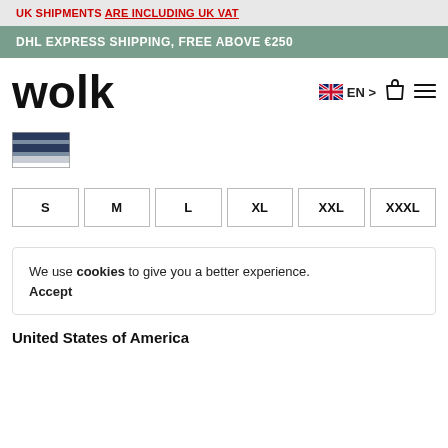UK SHIPMENTS ARE INCLUDING UK VAT
DHL EXPRESS SHIPPING, FREE ABOVE €250
[Figure (logo): Wolk brand logo in bold black text]
EN >
[Figure (illustration): Color swatch thumbnail showing navy and grey horizontal stripes]
S
M
L
XL
XXL
XXXL
We use cookies to give you a better experience. Accept
United States of America